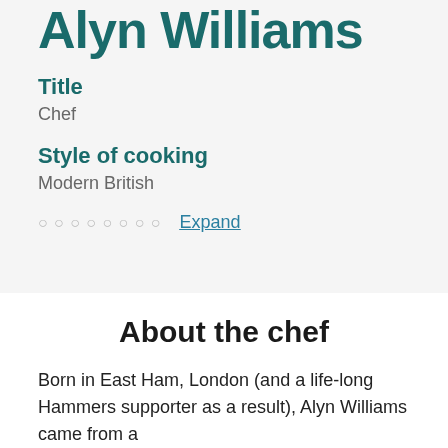Alyn Williams
Title
Chef
Style of cooking
Modern British
Expand
About the chef
Born in East Ham, London (and a life-long Hammers supporter as a result), Alyn Williams came from a